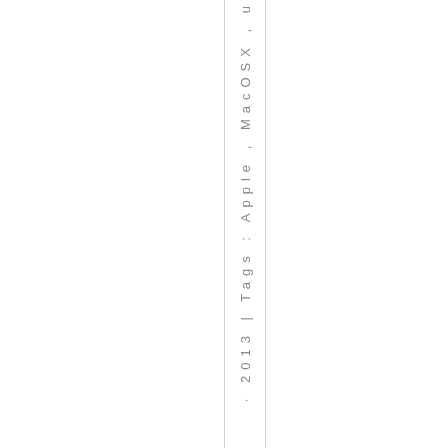· 2013 | Tags : Apple , MacOSX , u